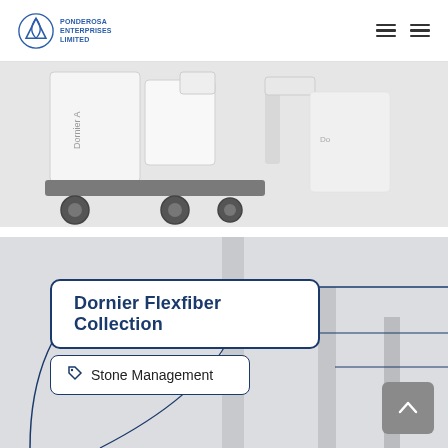Ponderosa Enterprises Limited
[Figure (photo): Dornier medical device (lithotripsy equipment) on wheels, white and grey, on a light grey floor]
[Figure (illustration): Dornier Flexfiber Collection product page section with a labelled box reading 'Dornier Flexfiber Collection' and a tag box reading 'Stone Management', with abstract blue curved lines and grey cylindrical shapes in the background]
Dornier Flexfiber Collection
Stone Management